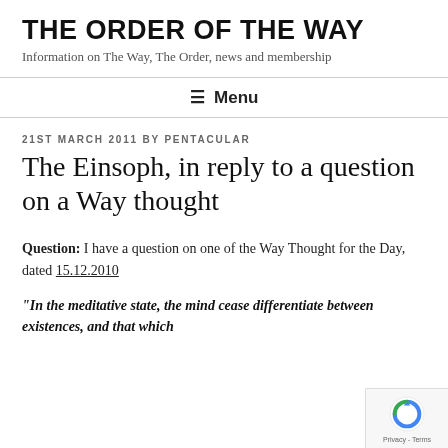THE ORDER OF THE WAY
Information on The Way, The Order, news and membership
☰ Menu
21ST MARCH 2011 BY PENTACULAR
The Einsoph, in reply to a question on a Way thought
Question: I have a question on one of the Way Thought for the Day, dated 15.12.2010
"In the meditative state, the mind cease differentiate between existences, and that which